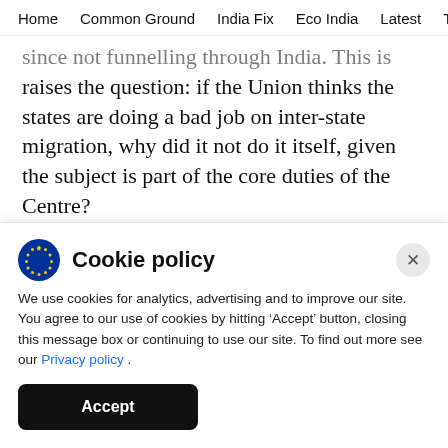Home  Common Ground  India Fix  Eco India  Latest  Th
raises the question: if the Union thinks the states are doing a bad job on inter-state migration, why did it not do it itself, given the subject is part of the core duties of the Centre?
India's states are already struggling due to the devastating financial impact of the lockdown. Yet, they are also India's frontline warriors for the
Cookie policy
We use cookies for analytics, advertising and to improve our site. You agree to our use of cookies by hitting ‘Accept’ button, closing this message box or continuing to use our site. To find out more see our Privacy policy .
Accept